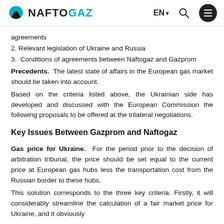NAFTOGAZ | EN | Search | Menu
agreements
2. Relevant legislation of Ukraine and Russia
3. Conditions of agreements between Naftogaz and Gazprom
Precedents. The latest state of affairs in the European gas market should be taken into account.
Based on the criteria listed above, the Ukrainian side has developed and discussed with the European Commission the following proposals to be offered at the trilateral negotiations.
Key Issues Between Gazprom and Naftogaz
Gas price for Ukraine. For the period prior to the decision of arbitration tribunal, the price should be set equal to the current price at European gas hubs less the transportation cost from the Russian border to these hubs.
This solution corresponds to the three key criteria. Firstly, it will considerably streamline the calculation of a fair market price for Ukraine, and it obviously